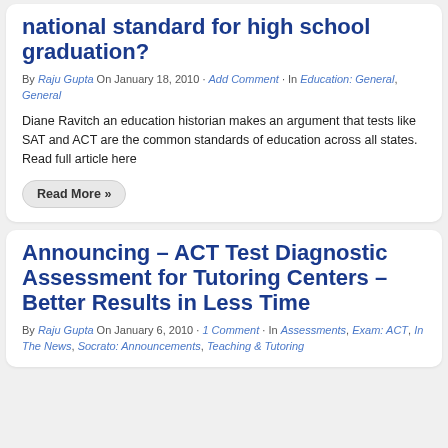national standard for high school graduation?
By Raju Gupta On January 18, 2010 · Add Comment · In Education: General, General
Diane Ravitch an education historian makes an argument that tests like SAT and ACT are the common standards of education across all states. Read full article here
Read More »
Announcing – ACT Test Diagnostic Assessment for Tutoring Centers – Better Results in Less Time
By Raju Gupta On January 6, 2010 · 1 Comment · In Assessments, Exam: ACT, In The News, Socrato: Announcements, Teaching & Tutoring